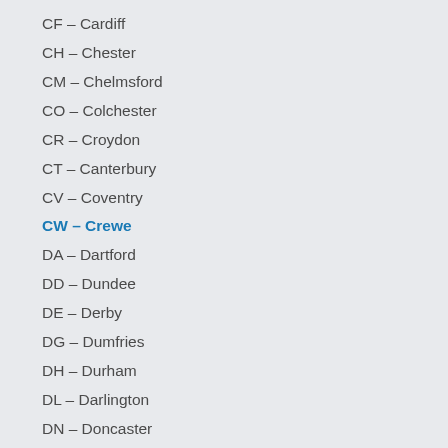CF – Cardiff
CH – Chester
CM – Chelmsford
CO – Colchester
CR – Croydon
CT – Canterbury
CV – Coventry
CW – Crewe
DA – Dartford
DD – Dundee
DE – Derby
DG – Dumfries
DH – Durham
DL – Darlington
DN – Doncaster
DT – Dorchester
DY – Dudley
E – East London